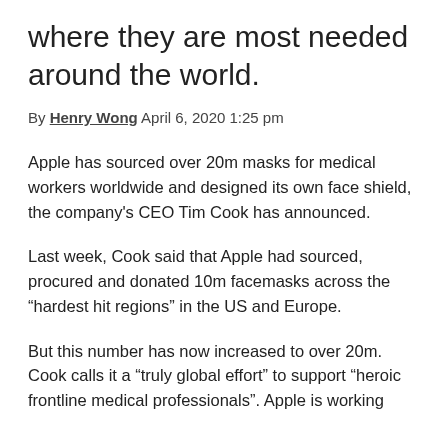where they are most needed around the world.
By Henry Wong April 6, 2020 1:25 pm
Apple has sourced over 20m masks for medical workers worldwide and designed its own face shield, the company's CEO Tim Cook has announced.
Last week, Cook said that Apple had sourced, procured and donated 10m facemasks across the “hardest hit regions” in the US and Europe.
But this number has now increased to over 20m. Cook calls it a “truly global effort” to support “heroic frontline medical professionals”. Apple is working